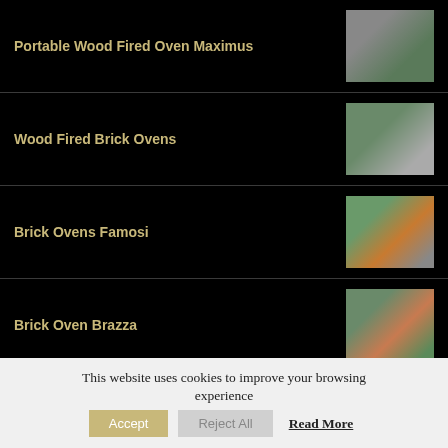Portable Wood Fired Oven Maximus
Wood Fired Brick Ovens
Brick Ovens Famosi
Brick Oven Brazza
Navegator
This website uses cookies to improve your browsing experience
Accept  Reject All  Read More